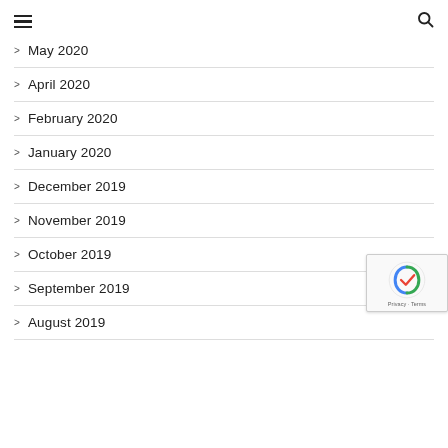≡  🔍
> May 2020
> April 2020
> February 2020
> January 2020
> December 2019
> November 2019
> October 2019
> September 2019
> August 2019